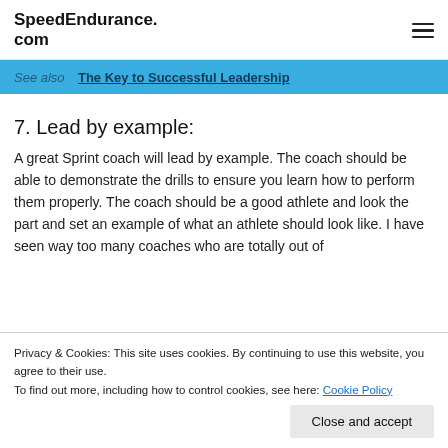SpeedEndurance.com
See also  The Key to Successful Leadership
7. Lead by example:
A great Sprint coach will lead by example. The coach should be able to demonstrate the drills to ensure you learn how to perform them properly. The coach should be a good athlete and look the part and set an example of what an athlete should look like. I have seen way too many coaches who are totally out of
Privacy & Cookies: This site uses cookies. By continuing to use this website, you agree to their use.
To find out more, including how to control cookies, see here: Cookie Policy